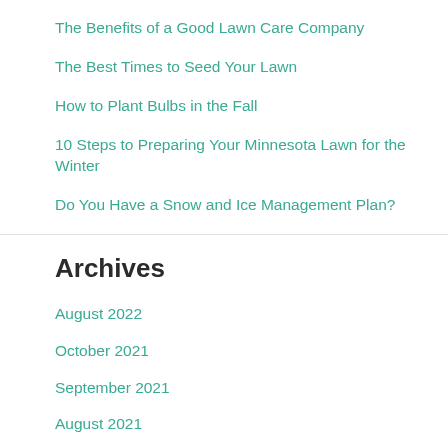The Benefits of a Good Lawn Care Company
The Best Times to Seed Your Lawn
How to Plant Bulbs in the Fall
10 Steps to Preparing Your Minnesota Lawn for the Winter
Do You Have a Snow and Ice Management Plan?
Archives
August 2022
October 2021
September 2021
August 2021
July 2021
June 2021